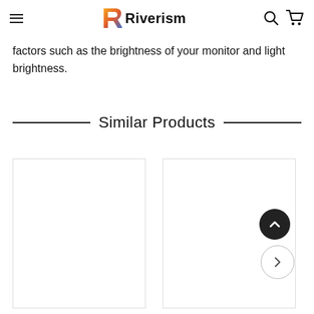Riverism
factors such as the brightness of your monitor and light brightness.
Similar Products
[Figure (other): Two white product image placeholder cards in a similar products section. A scroll-to-top button (dark circle with up chevron) and a next arrow button (light circle with right chevron) overlay the second card area.]